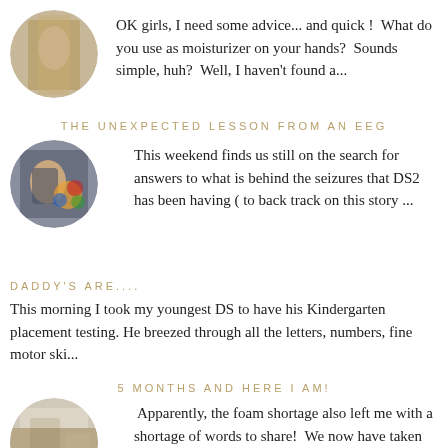[Figure (photo): Circular avatar photo showing a hand against a wooden background]
OK girls, I need some advice... and quick !  What do you use as moisturizer on your hands?  Sounds simple, huh?  Well, I haven't found a...
THE UNEXPECTED LESSON FROM AN EEG
[Figure (photo): Circular avatar photo of a child playing with colorful toys]
This weekend finds us still on the search for answers to what is behind the seizures that DS2 has been having ( to back track on this story ...
DADDY'S ARE....
This morning I took my youngest DS to have his Kindergarten placement testing. He breezed through all the letters, numbers, fine motor ski...
5 MONTHS AND HERE I AM!
[Figure (photo): Circular avatar photo of an interior room scene]
Apparently, the foam shortage also left me with a shortage of words to share!  We now have taken